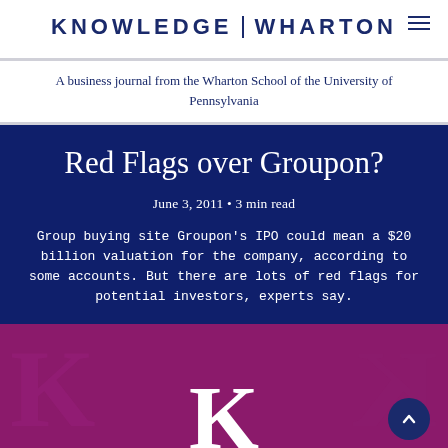KNOWLEDGE@WHARTON
A business journal from the Wharton School of the University of Pennsylvania
Red Flags over Groupon?
June 3, 2011 • 3 min read
Group buying site Groupon's IPO could mean a $20 billion valuation for the company, according to some accounts. But there are lots of red flags for potential investors, experts say.
[Figure (photo): Purple/magenta background with large white K letter logo, representing Knowledge@Wharton branding image]